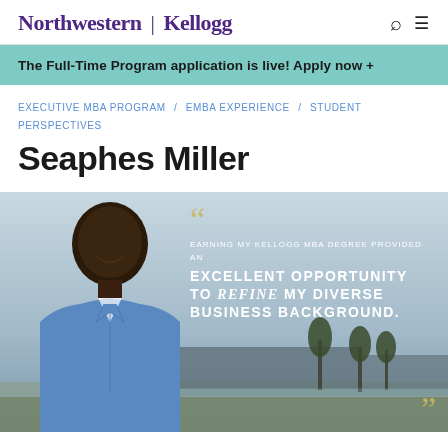Northwestern | Kellogg
The Full-Time Program application is live! Apply now +
EXECUTIVE MBA PROGRAM / EMBA EXPERIENCE / STUDENT PERSPECTIVES
Seaphes Miller
[Figure (photo): Photo of Seaphes Miller, a man in a blue shirt smiling, overlaid with a quote: 'EARNING MY KELLOGG MBA DEGREE PROVIDED AN EXCELLENT OPPORTUNITY TO refine MY DIVERSE BUSINESS BACKGROUND.' on a blue-grey outdoor background.]